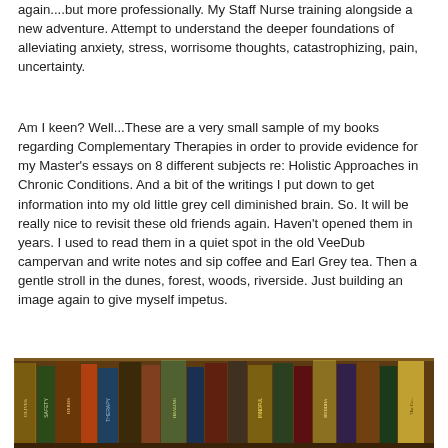again....but more professionally. My Staff Nurse training alongside a new adventure. Attempt to understand the deeper foundations of alleviating anxiety, stress, worrisome thoughts, catastrophizing, pain, uncertainty.
Am I keen? Well...These are a very small sample of my books regarding Complementary Therapies in order to provide evidence for my Master's essays on 8 different subjects re: Holistic Approaches in Chronic Conditions. And a bit of the writings I put down to get information into my old little grey cell diminished brain. So. It will be really nice to revisit these old friends again. Haven't opened them in years. I used to read them in a quiet spot in the old VeeDub campervan and write notes and sip coffee and Earl Grey tea. Then a gentle stroll in the dunes, forest, woods, riverside. Just building an image again to give myself impetus.
[Figure (photo): Photo of a row of books standing upright showing their spines, with warm brown/golden tones, various books on complementary therapies and related topics visible.]